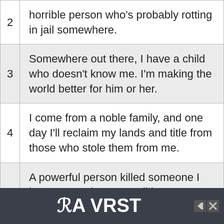2  horrible person who's probably rotting in jail somewhere.
3  Somewhere out there, I have a child who doesn't know me. I'm making the world better for him or her.
4  I come from a noble family, and one day I'll reclaim my lands and title from those who stole them from me.
5  A powerful person killed someone I love. Some day soon, I'll have my revenge.
[Figure (logo): VRST advertisement banner with logo on dark background]